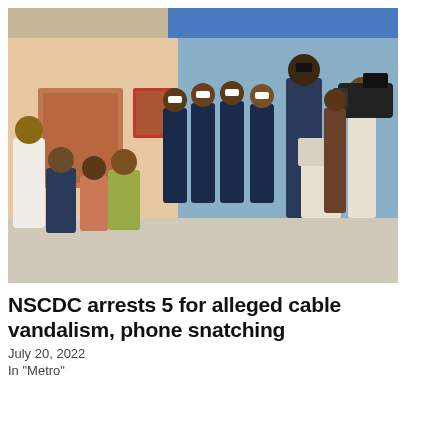[Figure (photo): Outdoor scene showing several people seated on a bench in the foreground, including children and young adults in casual clothes. Behind them stand uniformed officers in dark blue uniforms with white belts and white caps. An officer in dark uniform stands at a podium/lectern. At the right edge, a cameraman films the event. The backdrop is a building with orange/terracotta walls and a blue awning.]
NSCDC arrests 5 for alleged cable vandalism, phone snatching
July 20, 2022
In "Metro"